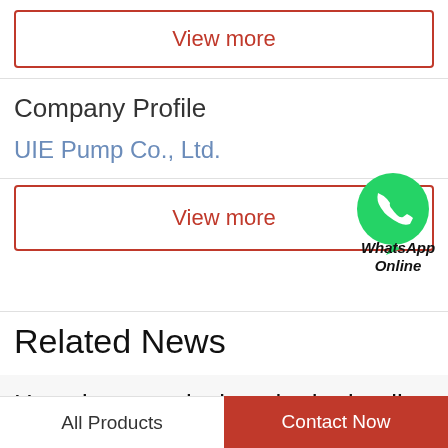View more
Company Profile
UIE Pump Co., Ltd.
View more
[Figure (logo): WhatsApp green phone bubble icon with WhatsApp Online text]
Related News
How do you calculate the hydraulic po...
Hydraulic Output Power Calculation, Output Power, HydraulicPump Flow Q, this is litres/minute. Pump
All Products
Contact Now